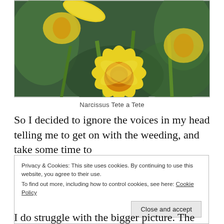[Figure (photo): Close-up photograph of yellow daffodil (Narcissus Tete a Tete) flowers with green stems and bokeh background]
Narcissus Tete a Tete
So I decided to ignore the voices in my head telling me to get on with the weeding, and take some time to
Privacy & Cookies: This site uses cookies. By continuing to use this website, you agree to their use.
To find out more, including how to control cookies, see here: Cookie Policy
[Close and accept]
I do struggle with the bigger picture. The natty little